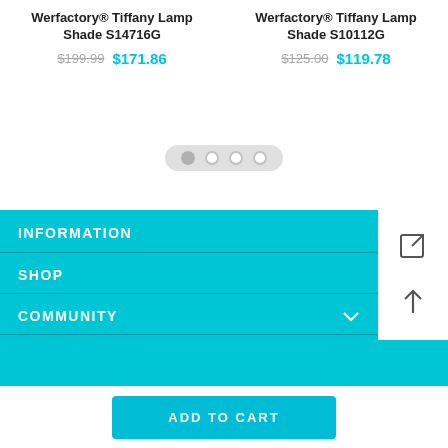Werfactory® Tiffany Lamp Shade S14716G
$199.99  $171.86
Werfactory® Tiffany Lamp Shade S10112G
$125.00  $119.78
[Figure (other): Carousel pagination dots — one filled dot and three outlined dots on a gray pill background]
INFORMATION
SHOP
COMMUNITY
ADD TO CART